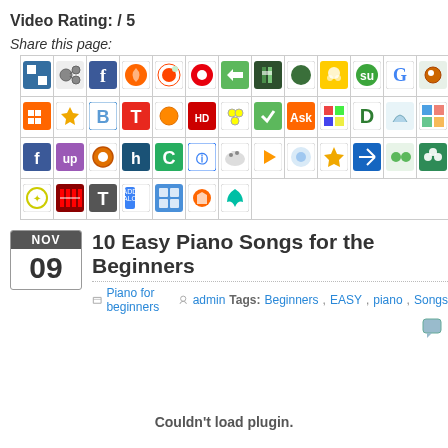Video Rating: / 5
Share this page:
[Figure (infographic): Grid of social sharing bookmark icons arranged in 4 rows of 14+ icons each, showing various social media and bookmarking site logos]
10 Easy Piano Songs for the Beginners
Piano for beginners  admin  Tags: Beginners, EASY, piano, Songs
Couldn't load plugin.